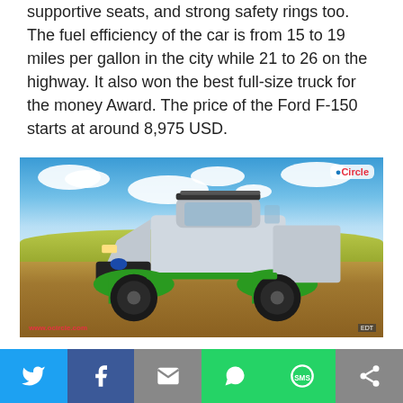supportive seats, and strong safety rings too. The fuel efficiency of the car is from 15 to 19 miles per gallon in the city while 21 to 26 on the highway. It also won the best full-size truck for the money Award. The price of the Ford F-150 starts at around 8,975 USD.
[Figure (photo): Ford F-150 modified pickup truck with silver body and green accents, lifted suspension and large off-road tires, parked in a rural field with blue sky and clouds in the background. Watermark www.ocircle.com visible at bottom left, OCircle logo at top right.]
Twitter | Facebook | Email | WhatsApp | SMS | More (social sharing bar)